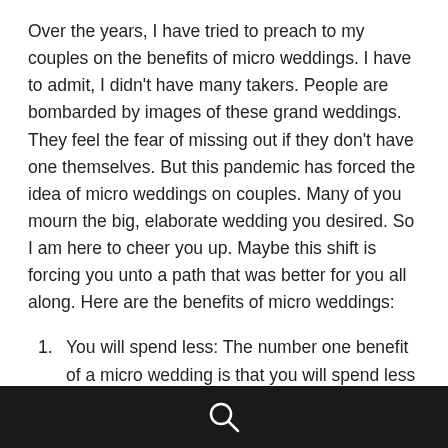Over the years, I have tried to preach to my couples on the benefits of micro weddings. I have to admit, I didn't have many takers. People are bombarded by images of these grand weddings. They feel the fear of missing out if they don't have one themselves. But this pandemic has forced the idea of micro weddings on couples. Many of you mourn the big, elaborate wedding you desired. So I am here to cheer you up. Maybe this shift is forcing you unto a path that was better for you all along. Here are the benefits of micro weddings:
You will spend less: The number one benefit of a micro wedding is that you will spend less money. Think about it. If you are spending $50 a person for food and